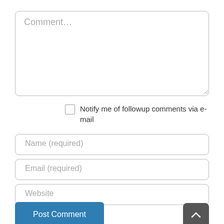[Figure (screenshot): Comment text area input box with placeholder text 'Comment...' and a resize handle in the bottom right corner]
Notify me of followup comments via e-mail
[Figure (screenshot): Text input field with placeholder 'Name (required)']
[Figure (screenshot): Text input field with placeholder 'Email (required)']
[Figure (screenshot): Text input field with placeholder 'Website']
[Figure (screenshot): Blue 'Post Comment' submit button]
[Figure (screenshot): Dark grey scroll-to-top button with upward chevron arrow]